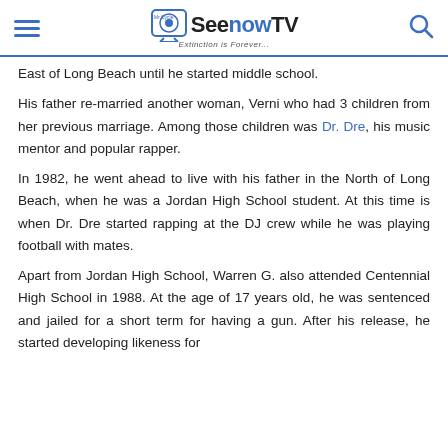SeenowTV — Extinction is Forever...
East of Long Beach until he started middle school.
His father re-married another woman, Verni who had 3 children from her previous marriage. Among those children was Dr. Dre, his music mentor and popular rapper.
In 1982, he went ahead to live with his father in the North of Long Beach, when he was a Jordan High School student. At this time is when Dr. Dre started rapping at the DJ crew while he was playing football with mates.
Apart from Jordan High School, Warren G. also attended Centennial High School in 1988. At the age of 17 years old, he was sentenced and jailed for a short term for having a gun. After his release, he started developing likeness for